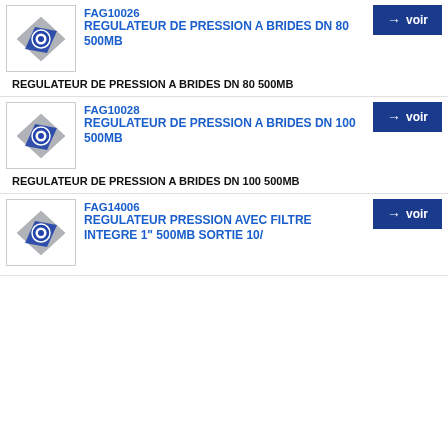[Figure (logo): Product thumbnail icon: grey diamond shape with blue diagonal bar and circle]
FAG10026
REGULATEUR DE PRESSION A BRIDES DN 80 500MB
REGULATEUR DE PRESSION A BRIDES DN 80 500MB
[Figure (logo): Product thumbnail icon: grey diamond shape with blue diagonal bar and circle]
FAG10028
REGULATEUR DE PRESSION A BRIDES DN 100 500MB
REGULATEUR DE PRESSION A BRIDES DN 100 500MB
[Figure (logo): Product thumbnail icon: grey diamond shape with blue diagonal bar and circle]
FAG14006
REGULATEUR PRESSION AVEC FILTRE INTEGRE 1" 500MB SORTIE 10/